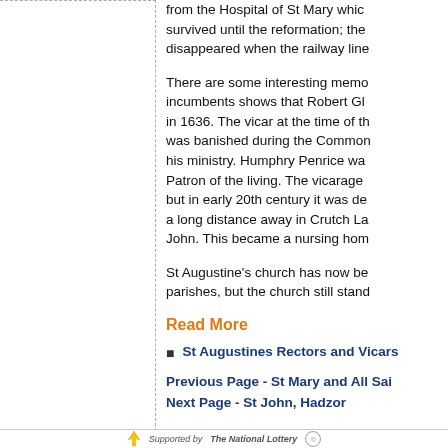from the Hospital of St Mary which survived until the reformation; the disappeared when the railway line
There are some interesting memo incumbents shows that Robert Gl in 1636. The vicar at the time of th was banished during the Common his ministry. Humphry Penrice wa Patron of the living. The vicarage but in early 20th century it was de a long distance away in Crutch La John. This became a nursing hom
St Augustine's church has now be parishes, but the church still stand
Read More
St Augustines Rectors and Vicars
Previous Page - St Mary and All Sai
Next Page - St John, Hadzor
Supported by The National Lottery